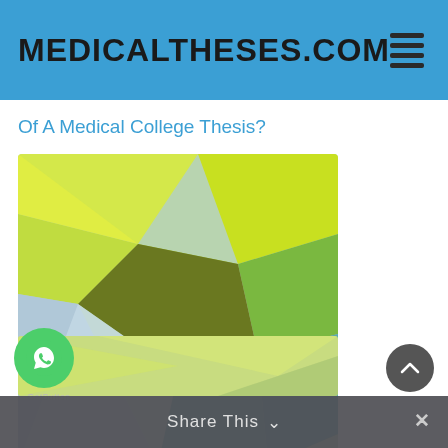MEDICALTHESES.COM
Of A Medical College Thesis?
[Figure (illustration): Abstract low-poly geometric illustration with yellow-green, teal, and light blue triangular shapes]
The Advantages of Getting Help With Your Dissertation
Share This